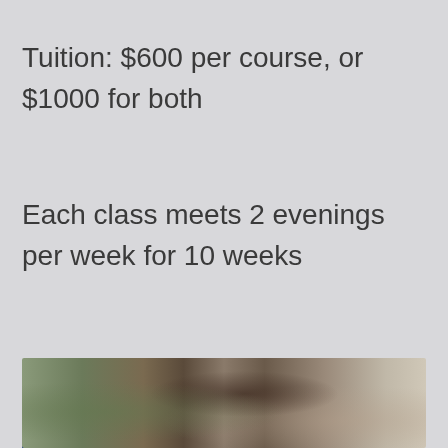Tuition: $600 per course, or $1000 for both
Each class meets 2 evenings per week for 10 weeks
See Full Course Info
[Figure (photo): Partial view of a classical painting or fresco showing figures, partially visible at the bottom of the page]